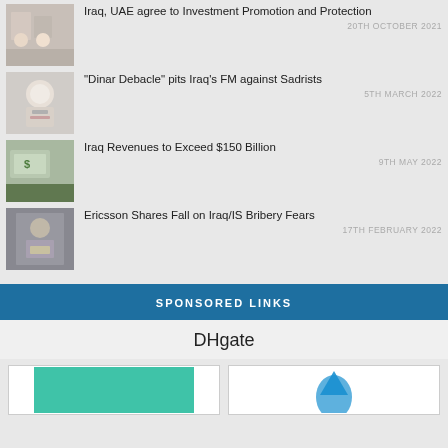Iraq, UAE agree to Investment Promotion and Protection
20TH OCTOBER 2021
"Dinar Debacle" pits Iraq's FM against Sadrists
5TH MARCH 2022
Iraq Revenues to Exceed $150 Billion
9TH MAY 2022
Ericsson Shares Fall on Iraq/IS Bribery Fears
17TH FEBRUARY 2022
SPONSORED LINKS
DHgate
[Figure (other): Two small advertisement image boxes at bottom]